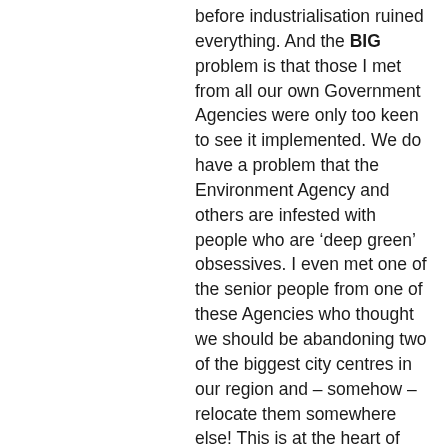before industrialisation ruined everything. And the BIG problem is that those I met from all our own Government Agencies were only too keen to see it implemented. We do have a problem that the Environment Agency and others are infested with people who are ‘deep green’ obsessives. I even met one of the senior people from one of these Agencies who thought we should be abandoning two of the biggest city centres in our region and – somehow – relocate them somewhere else! This is at the heart of why we have so many problems in our country – there is no democratic control, there is no political oversight, there is no accountability: we are at the mercy of the bureaucratic state, in which employees of agencies are making